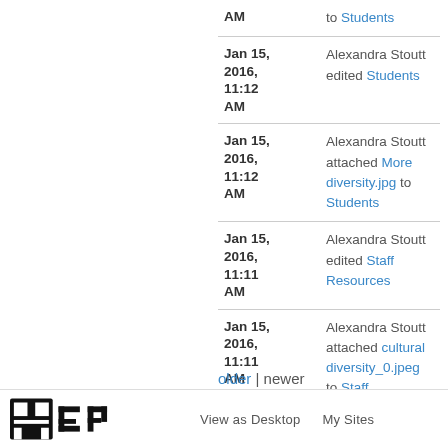| Date | Activity |
| --- | --- |
| Jan 15, 2016, 11:12 AM | Alexandra Stoutt edited Students |
| Jan 15, 2016, 11:12 AM | Alexandra Stoutt attached More diversity.jpg to Students |
| Jan 15, 2016, 11:11 AM | Alexandra Stoutt edited Staff Resources |
| Jan 15, 2016, 11:11 AM | Alexandra Stoutt attached cultural diversity_0.jpeg to Staff Resources |
older | newer
View as Desktop   My Sites